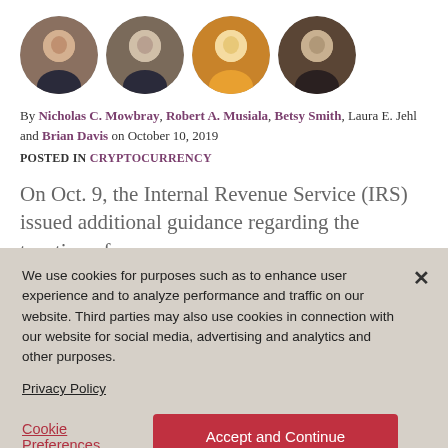[Figure (photo): Four circular author headshots: Nicholas C. Mowbray, Robert A. Musiala, Betsy Smith, Brian Davis]
By Nicholas C. Mowbray, Robert A. Musiala, Betsy Smith, Laura E. Jehl and Brian Davis on October 10, 2019
POSTED IN CRYPTOCURRENCY
On Oct. 9, the Internal Revenue Service (IRS) issued additional guidance regarding the taxation of
We use cookies for purposes such as to enhance user experience and to analyze performance and traffic on our website. Third parties may also use cookies in connection with our website for social media, advertising and analytics and other purposes.

Privacy Policy
Cookie Preferences   Accept and Continue